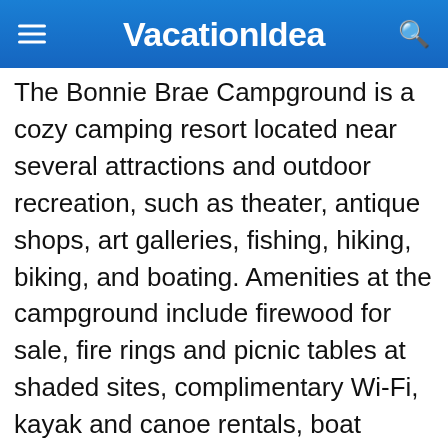VacationIdea
The Bonnie Brae Campground is a cozy camping resort located near several attractions and outdoor recreation, such as theater, antique shops, art galleries, fishing, hiking, biking, and boating. Amenities at the campground include firewood for sale, fire rings and picnic tables at shaded sites, complimentary Wi-Fi, kayak and canoe rentals, boat rentals, fishing, access to Pontoosuc Lake, and a pool. As for camping accommodations, the Bonnie Brae Campground provides tent sites, RV sites with full hookups, and cozy cabins with smart